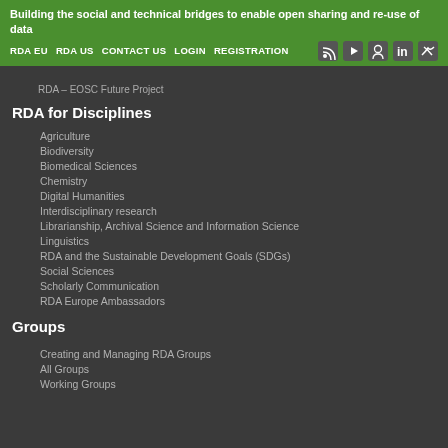Building the social and technical bridges to enable open sharing and re-use of data  RDA EU  RDA US  CONTACT US  LOGIN  REGISTRATION
RDA – EOSC Future Project
RDA for Disciplines
Agriculture
Biodiversity
Biomedical Sciences
Chemistry
Digital Humanities
Interdisciplinary research
Librarianship, Archival Science and Information Science
Linguistics
RDA and the Sustainable Development Goals (SDGs)
Social Sciences
Scholarly Communication
RDA Europe Ambassadors
Groups
Creating and Managing RDA Groups
All Groups
Working Groups